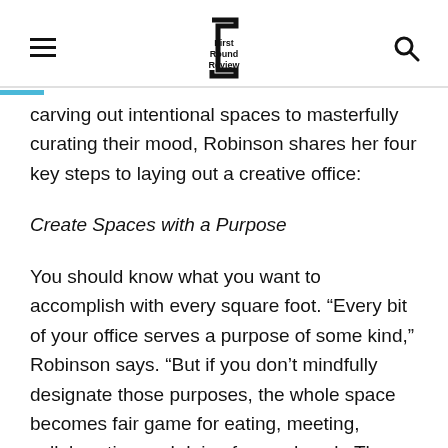First Round Review
carving out intentional spaces to masterfully curating their mood, Robinson shares her four key steps to laying out a creative office:
Create Spaces with a Purpose
You should know what you want to accomplish with every square foot. “Every bit of your office serves a purpose of some kind,” Robinson says. “But if you don’t mindfully designate those purposes, the whole space becomes fair game for eating, meeting, collaborating and doing focused work. The result is a